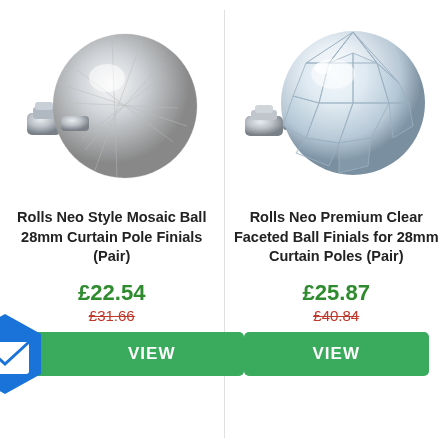[Figure (photo): Rolls Neo Style Mosaic Ball 28mm curtain pole finial product photo - silver/chrome ball with mosaic texture]
[Figure (photo): Rolls Neo Premium Clear Faceted Ball Finial for 28mm curtain poles - clear crystal ball with chrome fitting]
Rolls Neo Style Mosaic Ball 28mm Curtain Pole Finials (Pair)
Rolls Neo Premium Clear Faceted Ball Finials for 28mm Curtain Poles (Pair)
£22.54
£31.66
£25.87
£40.84
VIEW
VIEW